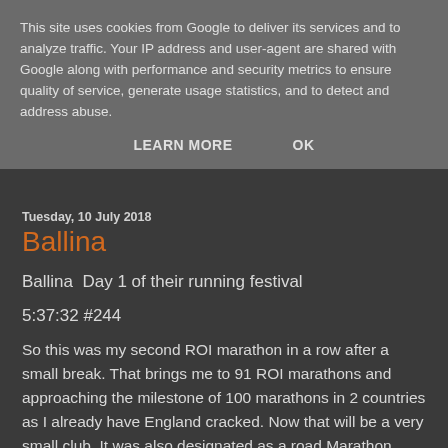This site uses cookies from Google to deliver its services and to analyze traffic. Your IP address and user-agent are shared with Google along with performance and security metrics to ensure quality of service, generate usage statistics, and to detect and address abuse.
LEARN MORE   OK
Tuesday, 10 July 2018
Ballina
Ballina  Day 1 of their running festival
5:37:32 #244
So this was my second ROI marathon in a row after a small break. That brings me to 91 ROI marathons and approaching the milestone of 100 marathons in 2 countries as I already have England cracked. Now that will be a very small club. It was also designated as a road Marathon which brings my Road marathon total to 90. In fact, Ballina AC tell me that this